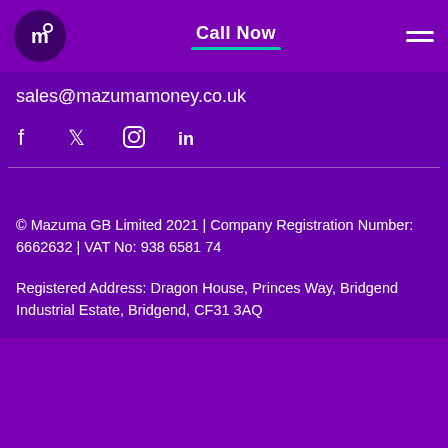Call Now
sales@mazumamoney.co.uk
[Figure (other): Social media icons: Facebook, Twitter, Instagram, LinkedIn]
© Mazuma GB Limited 2021 | Company Registration Number: 6662632 | VAT No: 938 6581 74

Registered Address: Dragon House, Princes Way, Bridgend Industrial Estate, Bridgend, CF31 3AQ